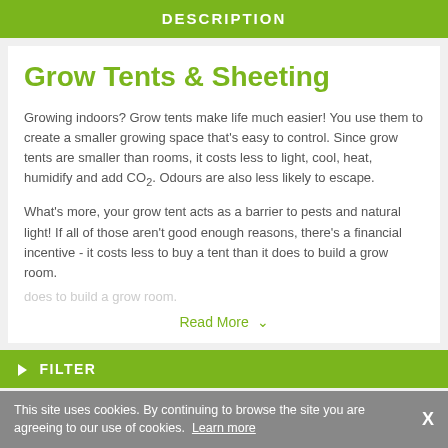DESCRIPTION
Grow Tents & Sheeting
Growing indoors? Grow tents make life much easier! You use them to create a smaller growing space that's easy to control. Since grow tents are smaller than rooms, it costs less to light, cool, heat, humidify and add CO₂. Odours are also less likely to escape.
What's more, your grow tent acts as a barrier to pests and natural light! If all of those aren't good enough reasons, there's a financial incentive - it costs less to buy a tent than it does to build a grow room.
Read More ˅
FILTER
This site uses cookies. By continuing to browse the site you are agreeing to our use of cookies. Learn more